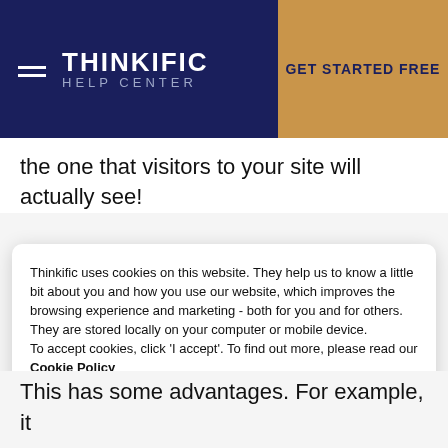THINKIFIC HELP CENTER | GET STARTED FREE
the one that visitors to your site will actually see!
Thinkific uses cookies on this website. They help us to know a little bit about you and how you use our website, which improves the browsing experience and marketing - both for you and for others. They are stored locally on your computer or mobile device.
To accept cookies, click 'I accept'. To find out more, please read our Cookie Policy
This has some advantages. For example, it